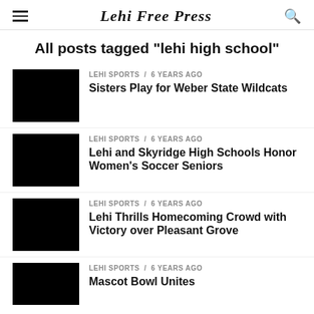Lehi Free Press
All posts tagged "lehi high school"
LEHI SPORTS / 6 years ago
Sisters Play for Weber State Wildcats
LEHI SPORTS / 6 years ago
Lehi and Skyridge High Schools Honor Women's Soccer Seniors
LEHI SPORTS / 6 years ago
Lehi Thrills Homecoming Crowd with Victory over Pleasant Grove
LEHI SPORTS / 6 years ago
Mascot Bowl Unites